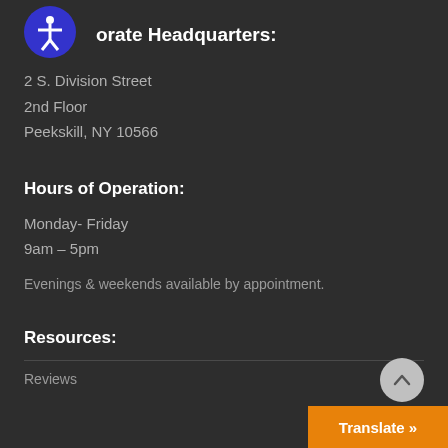Corporate Headquarters:
2 S. Division Street
2nd Floor
Peekskill, NY 10566
Hours of Operation:
Monday- Friday
9am – 5pm
Evenings & weekends available by appointment.
Resources:
Reviews